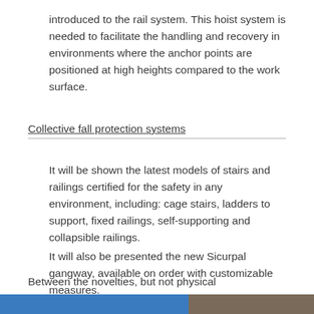introduced to the rail system. This hoist system is needed to facilitate the handling and recovery in environments where the anchor points are positioned at high heights compared to the work surface.
Collective fall protection systems
It will be shown the latest models of stairs and railings certified for the safety in any environment, including: cage stairs, ladders to support, fixed railings, self-supporting and collapsible railings.
It will also be presented the new Sicurpal gangway, available on order with customizable measures.
Between the novelties, but not physical